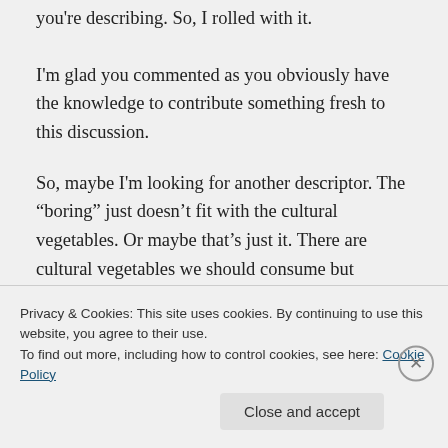you're describing. So, I rolled with it.
I'm glad you commented as you obviously have the knowledge to contribute something fresh to this discussion.
So, maybe I'm looking for another descriptor. The “boring” just doesn’t fit with the cultural vegetables. Or maybe that’s just it. There are cultural vegetables we should consume but struggle to enjoy. Then there’s “boring” and all its acceptability
Privacy & Cookies: This site uses cookies. By continuing to use this website, you agree to their use. To find out more, including how to control cookies, see here: Cookie Policy
Close and accept